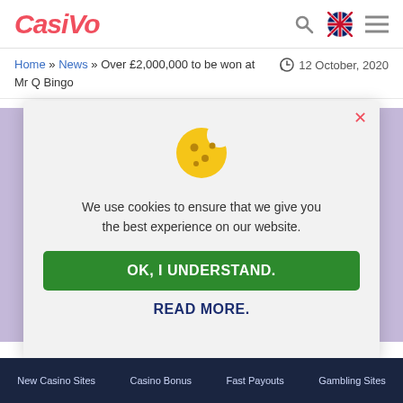Casivo
Home » News » Over £2,000,000 to be won at Mr Q Bingo  12 October, 2020
[Figure (screenshot): Cookie consent modal overlay on Casivo website showing a cookie icon, message 'We use cookies to ensure that we give you the best experience on our website.', a green 'OK, I UNDERSTAND.' button, and a 'READ MORE.' link. Background shows purple sidebar strips and partial page content.]
New Casino Sites   Casino Bonus   Fast Payouts   Gambling Sites